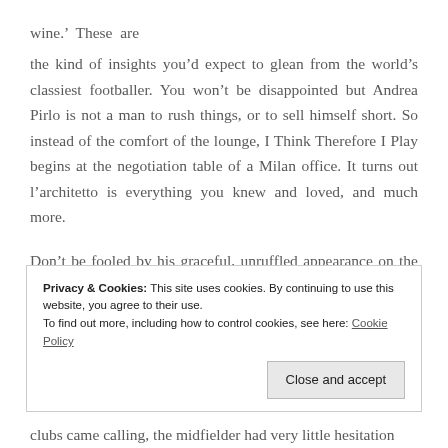wine.’ These are
the kind of insights you’d expect to glean from the world’s classiest footballer. You won’t be disappointed but Andrea Pirlo is not a man to rush things, or to sell himself short. So instead of the comfort of the lounge, I Think Therefore I Play begins at the negotiation table of a Milan office. It turns out l’architetto is everything you knew and loved, and much more.
Don’t be fooled by his graceful, unruffled appearance on the pitch; Pirlo is made of tougher stuff. A ruthless ambition reveals itself early on in the discussions surrounding failed
Privacy & Cookies: This site uses cookies. By continuing to use this website, you agree to their use.
To find out more, including how to control cookies, see here: Cookie Policy
clubs came calling, the midfielder had very little hesitation